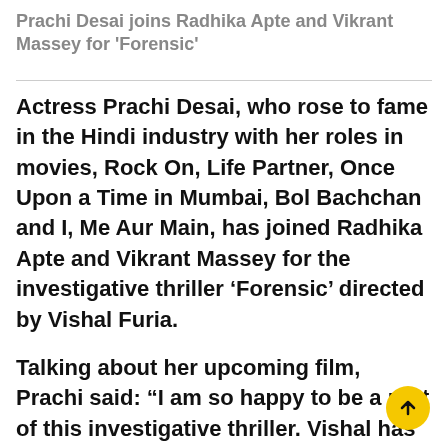Prachi Desai joins Radhika Apte and Vikrant Massey for 'Forensic'
Actress Prachi Desai, who rose to fame in the Hindi industry with her roles in movies, Rock On, Life Partner, Once Upon a Time in Mumbai, Bol Bachchan and I, Me Aur Main, has joined Radhika Apte and Vikrant Massey for the investigative thriller ‘Forensic’ directed by Vishal Furia.
Talking about her upcoming film, Prachi said: “I am so happy to be a part of this investigative thriller. Vishal has a very